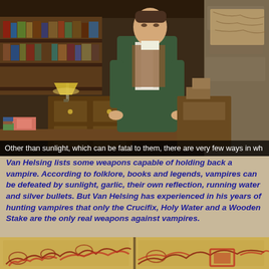[Figure (screenshot): Video game screenshot showing a 3D character (Van Helsing) standing behind a desk in a study/library room with bookshelves, a desk lamp, and various items. A subtitle bar reads: 'Other than sunlight, which can be fatal to them, there are very few ways in wh']
Van Helsing lists some weapons capable of holding back a vampire. According to folklore, books and legends, vampires can be defeated by sunlight, garlic, their own reflection, running water and silver bullets. But Van Helsing has experienced in his years of hunting vampires that only the Crucifix, Holy Water and a Wooden Stake are the only real weapons against vampires.
[Figure (screenshot): Two side-by-side screenshots showing aged parchment/scroll document with decorative red illustrations at bottom of page]